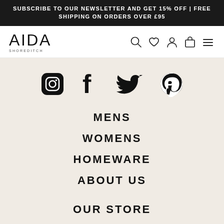SUBSCRIBE TO OUR NEWSLETTER AND GET 15% OFF | FREE SHIPPING ON ORDERS OVER £95
[Figure (logo): AIDA SHOREDITCH logo with search, wishlist, account, bag, and menu icons]
[Figure (infographic): Social media icons: Instagram, Facebook, Twitter, Pinterest]
MENS
WOMENS
HOMEWARE
ABOUT US
OUR STORE
CAREERS